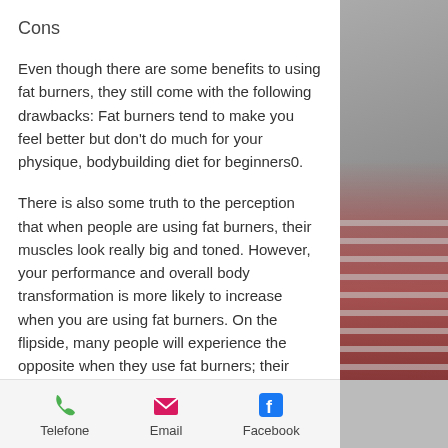Cons
Even though there are some benefits to using fat burners, they still come with the following drawbacks: Fat burners tend to make you feel better but don't do much for your physique, bodybuilding diet for beginners0.
There is also some truth to the perception that when people are using fat burners, their muscles look really big and toned. However, your performance and overall body transformation is more likely to increase when you are using fat burners. On the flipside, many people will experience the opposite when they use fat burners; their bodies look much slimmer, bodybuilding diet
[Figure (photo): Photo of a person in a red and white striped shirt against a concrete wall background, showing a thumbs up gesture.]
Telefone   Email   Facebook